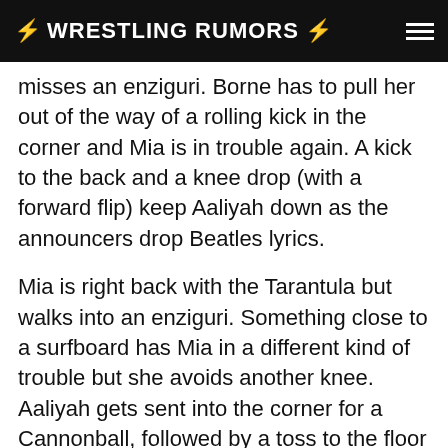⚡ WRESTLING RUMORS ⚡
misses an enziguri. Borne has to pull her out of the way of a rolling kick in the corner and Mia is in trouble again. A kick to the back and a knee drop (with a forward flip) keep Aaliyah down as the announcers drop Beatles lyrics.
Mia is right back with the Tarantula but walks into an enziguri. Something close to a surfboard has Mia in a different kind of trouble but she avoids another knee. Aaliyah gets sent into the corner for a Cannonball, followed by a toss to the floor for a double suicide dive. Back in and Protect Your Neck finishes Aaliyah at 4:52.
Result: Mia Yim b. Aaliyah – Protect Your Neck